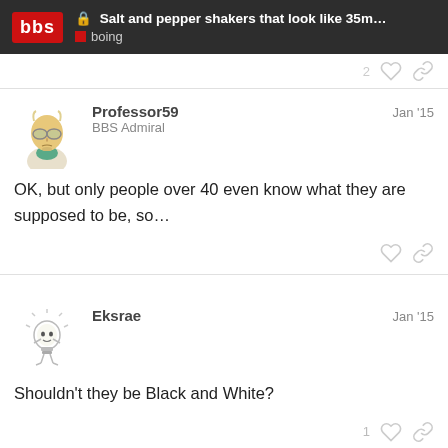Salt and pepper shakers that look like 35m... | boing
Professor59 | BBS Admiral | Jan '15
OK, but only people over 40 even know what they are supposed to be, so…
Eksrae | Jan '15
Shouldn't they be Black and White?